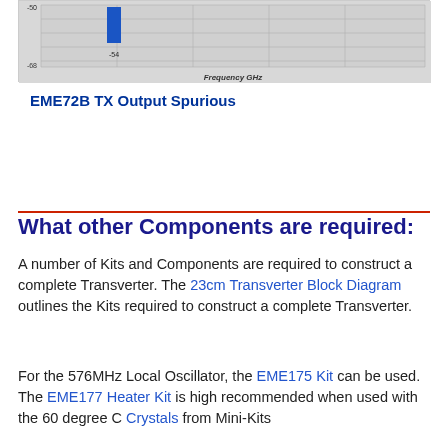[Figure (continuous-plot): Spectrum analyzer plot showing TX output spurious. A blue bar peak near -54 dB is visible, with y-axis values around -50 and -68, and x-axis labeled 'Frequency GHz'.]
EME72B TX Output Spurious
What other Components are required:
A number of Kits and Components are required to construct a complete Transverter. The 23cm Transverter Block Diagram outlines the Kits required to construct a complete Transverter.
For the 576MHz Local Oscillator, the EME175 Kit can be used. The EME177 Heater Kit is high recommended when used with the 60 degree C Crystals from Mini-Kits